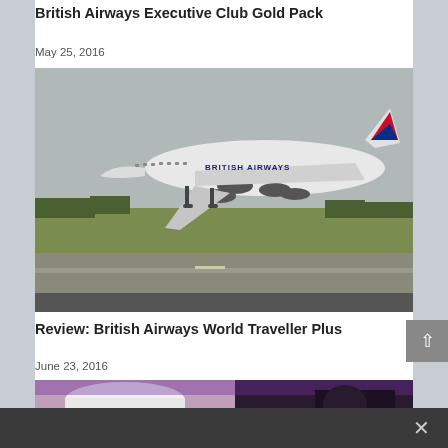British Airways Executive Club Gold Pack
May 25, 2016
[Figure (photo): British Airways A380 aircraft taking off from runway, side view showing livery and landing gear still down, overcast sky background with green field below]
Review: British Airways World Traveller Plus
June 23, 2016
[Figure (photo): Partial view of British Airways World Traveller Plus cabin interior, showing seat and purple/white cabin lighting]